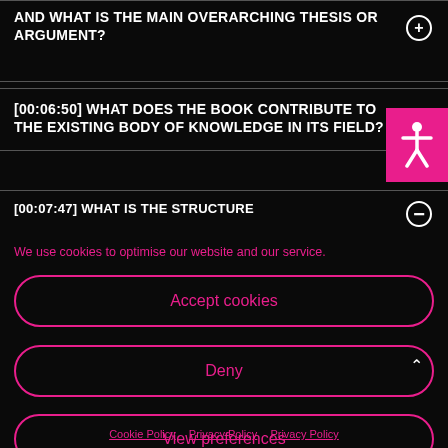AND WHAT IS THE MAIN OVERARCHING THESIS OR ARGUMENT?
[00:06:50] WHAT DOES THE BOOK CONTRIBUTE TO THE EXISTING BODY OF KNOWLEDGE IN ITS FIELD?
[00:07:47] WHAT IS THE STRUCTURE
We use cookies to optimise our website and our service.
Accept cookies
Deny
View preferences
Cookie Policy   Privacy Policy   Privacy Policy